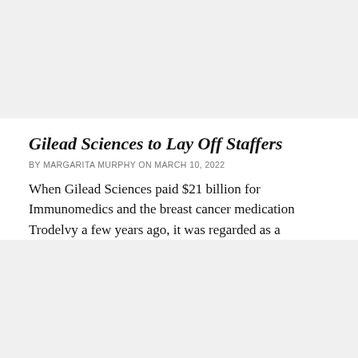[Figure (photo): Gray placeholder image block at top of page]
Gilead Sciences to Lay Off Staffers
BY MARGARITA MURPHY ON MARCH 10, 2022
When Gilead Sciences paid $21 billion for Immunomedics and the breast cancer medication Trodelvy a few years ago, it was regarded as a substantial push...
[Figure (photo): Gray placeholder image block at bottom of page]